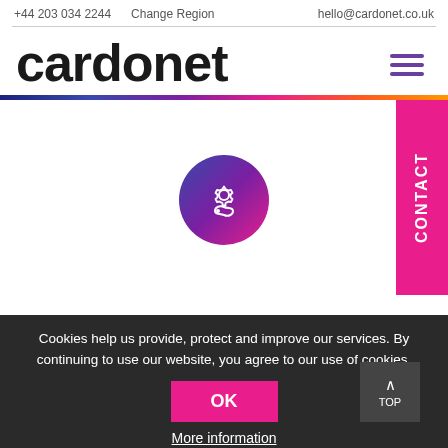+44 203 034 2244   Change Region   hello@cardonet.co.uk
cardonet
[Figure (logo): Cardonet logo - large black lowercase text 'cardonet' with hamburger menu icon (three purple horizontal lines) on right]
[Figure (infographic): Rainbow gradient horizontal bar separating header from content area, with a pink CONTACT vertical tab on the right side]
[Figure (illustration): Circular gradient icon (blue-purple-pink) containing a gear icon and a settings/refresh symbol in white]
Cookies help us provide, protect and improve our services. By continuing to use our website, you agree to our use of cookies.
OK
More information
TOP